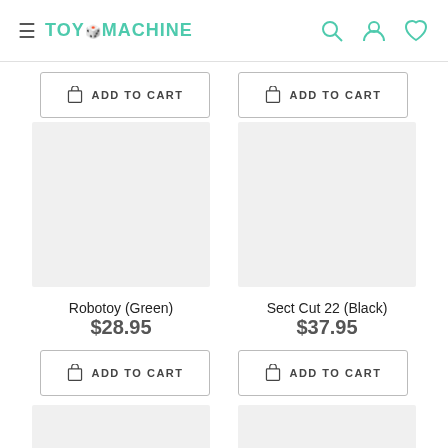TOY MACHINE — navigation header with menu, search, account, wishlist icons
[Figure (screenshot): Two 'ADD TO CART' buttons at top of product grid (partially visible products above)]
[Figure (photo): Product image placeholder for Robotoy (Green) — grey square]
Robotoy (Green)
$28.95
[Figure (photo): Product image placeholder for Sect Cut 22 (Black) — grey square]
Sect Cut 22 (Black)
$37.95
ADD TO CART
ADD TO CART
[Figure (photo): Partial product image placeholder at bottom left — grey rectangle]
[Figure (photo): Partial product image placeholder at bottom right — grey rectangle]